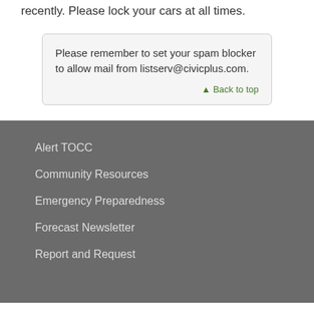recently. Please lock your cars at all times.
Please remember to set your spam blocker to allow mail from listserv@civicplus.com.
▲ Back to top
Alert TOCC
Community Resources
Emergency Preparedness
Forecast Newsletter
Report and Request